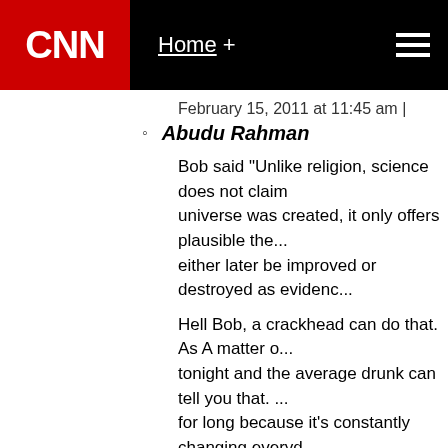CNN | Home +
February 15, 2011 at 11:45 am |
Abudu Rahman
Bob said "Unlike religion, science does not claim how the universe was created, it only offers plausible the... either later be improved or destroyed as evidenc...
Hell Bob, a crackhead can do that. As A matter o... tonight and the average drunk can tell you that. ... for long because it's constantly changing everyd... theories are changed all the time. My religion I k... time and no matter how much the West has dum... after we all pass and it will be even more domor...
February 15, 2011 at 11:46 am |
Janet
LOL at Darryn pretending to be a scientist. "Grav... copy paste the damn word from somewhere.